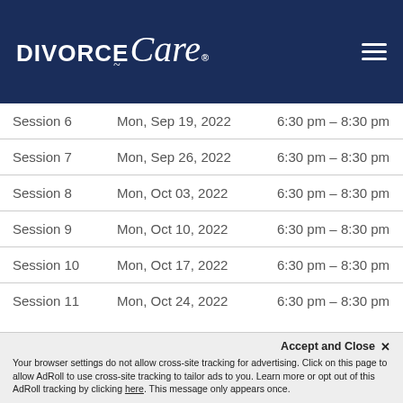DivorceCare
| Session | Date | Time |
| --- | --- | --- |
| Session 6 | Mon, Sep 19, 2022 | 6:30 pm – 8:30 pm |
| Session 7 | Mon, Sep 26, 2022 | 6:30 pm – 8:30 pm |
| Session 8 | Mon, Oct 03, 2022 | 6:30 pm – 8:30 pm |
| Session 9 | Mon, Oct 10, 2022 | 6:30 pm – 8:30 pm |
| Session 10 | Mon, Oct 17, 2022 | 6:30 pm – 8:30 pm |
| Session 11 | Mon, Oct 24, 2022 | 6:30 pm – 8:30 pm |
| Session 12 | Mon, Oct 31, 2022 | 6:30 pm – 8:30 pm |
| Session 13 | Mon, Nov 07, 2022 | 6:30 pm – 8:30 pm |
Accept and Close ✕ Your browser settings do not allow cross-site tracking for advertising. Click on this page to allow AdRoll to use cross-site tracking to tailor ads to you. Learn more or opt out of this AdRoll tracking by clicking here. This message only appears once.